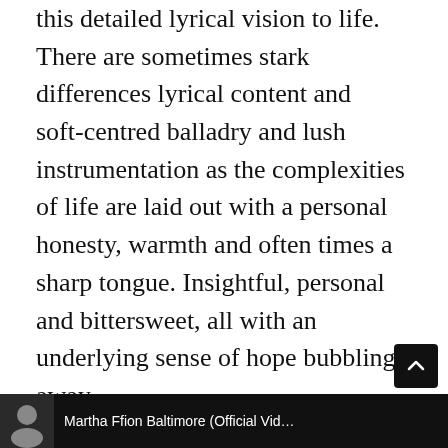this detailed lyrical vision to life. There are sometimes stark differences lyrical content and soft-centred balladry and lush instrumentation as the complexities of life are laid out with a personal honesty, warmth and often times a sharp tongue. Insightful, personal and bittersweet, all with an underlying sense of hope bubbling away.
A marvellous debut that flourishes with an underlying sense of hope bubbling away beneath candid and bittersweet lyrics and of course, swooning sounds.
[Figure (screenshot): Black bottom bar with a circular thumbnail image (person) on the left and text reading 'Martha Ffion Baltimore (Official Vid...' in white on a black background. A black scroll-to-top button with an upward arrow appears above the bar on the right side.]